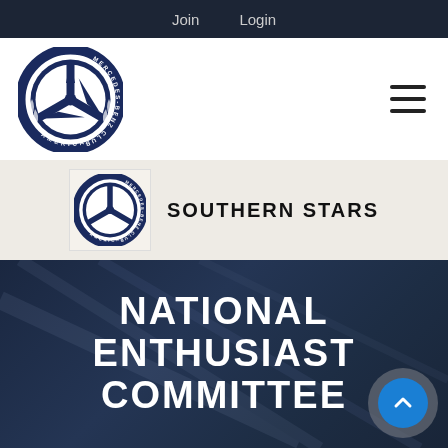Join  Login
[Figure (logo): Mercedes-Benz Club of America circular logo with star emblem, large version in white header]
[Figure (logo): Mercedes-Benz Club of America circular logo with star emblem, small version in Southern Stars banner]
SOUTHERN STARS
NATIONAL ENTHUSIAST COMMITTEE